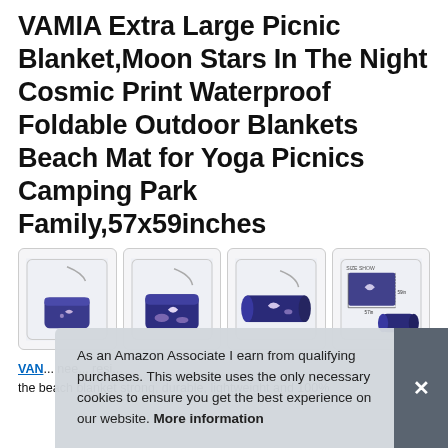VAMIA Extra Large Picnic Blanket,Moon Stars In The Night Cosmic Print Waterproof Foldable Outdoor Blankets Beach Mat for Yoga Picnics Camping Park Family,57x59inches
[Figure (photo): Four product thumbnail images of a folded picnic blanket with moon/stars night cosmic print design, shown in different configurations: as a shoulder bag with strap, folded compact view, rolled cylindrical view, and a size comparison diagram.]
VAMIA Extra Large Picnic Blanket: ... need ... resi... the beach blanket strong, durable, lightweight and 100%
As an Amazon Associate I earn from qualifying purchases. This website uses the only necessary cookies to ensure you get the best experience on our website. More information